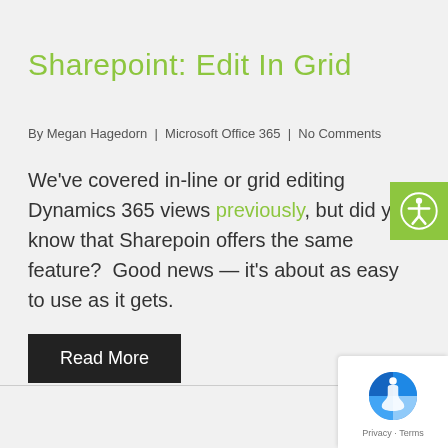Sharepoint: Edit In Grid
By Megan Hagedorn | Microsoft Office 365 | No Comments
We've covered in-line or grid editing Dynamics 365 views previously, but did you know that Sharepoint offers the same feature?  Good news — it's about as easy to use as it gets.
Read More
[Figure (other): reCAPTCHA badge with Privacy and Terms links]